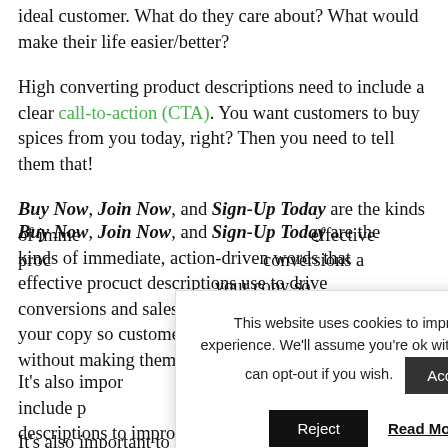ideal customer. What do they care about? What would make their life easier/better?
High converting product descriptions need to include a clear call-to-action (CTA). You want customers to buy spices from you today, right? Then you need to tell them that!
Buy Now, Join Now, and Sign-Up Today are the kinds of immediate, action-driven words that effective product descriptions use to drive conversions and sales. Be sure to include CTA in your copy so customers know exactly what to do without making them think too hard.
It's also important to conduct keyword research and include product-focused keywords in your product descriptions to improve your organic
This website uses cookies to improve your experience. We'll assume you're ok with this, but you can opt-out if you wish. Accept Reject Read More